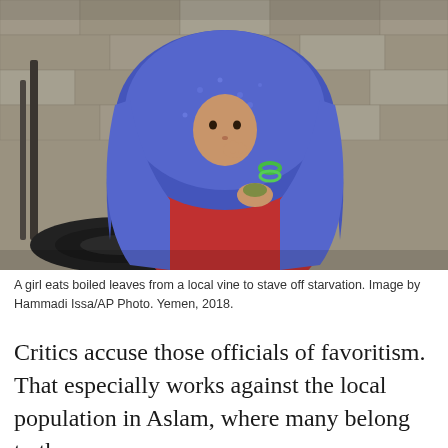[Figure (photo): A young girl wearing a blue hijab and red dress sits on a tire against a stone wall, eating boiled leaves from her hand. She wears green bangles. Yemen, 2018.]
A girl eats boiled leaves from a local vine to stave off starvation. Image by Hammadi Issa/AP Photo. Yemen, 2018.
Critics accuse those officials of favoritism. That especially works against the local population in Aslam, where many belong to the